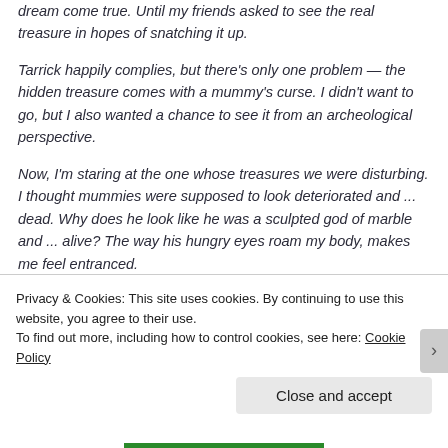dream come true. Until my friends asked to see the real treasure in hopes of snatching it up.
Tarrick happily complies, but there's only one problem — the hidden treasure comes with a mummy's curse. I didn't want to go, but I also wanted a chance to see it from an archeological perspective.
Now, I'm staring at the one whose treasures we were disturbing. I thought mummies were supposed to look deteriorated and ... dead. Why does he look like he was a sculpted god of marble and ... alive? The way his hungry eyes roam my body, makes me feel entranced.
Privacy & Cookies: This site uses cookies. By continuing to use this website, you agree to their use.
To find out more, including how to control cookies, see here: Cookie Policy
Close and accept